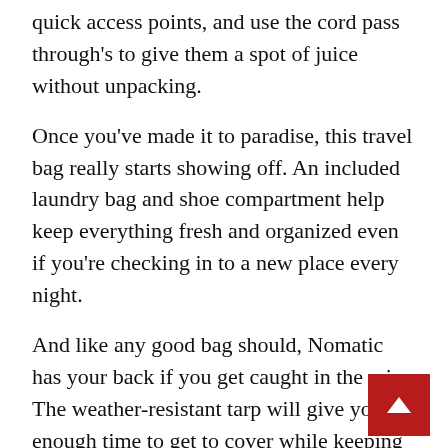quick access points, and use the cord pass through's to give them a spot of juice without unpacking.
Once you’ve made it to paradise, this travel bag really starts showing off. An included laundry bag and shoe compartment help keep everything fresh and organized even if you’re checking in to a new place every night.
And like any good bag should, Nomatic has your back if you get caught in the rain. The weather-resistant tarp will give you enough time to get to cover while keeping your electronics dry.
That’s not even half of the impressive features that make this the best backpack for business travel.
✔PROS